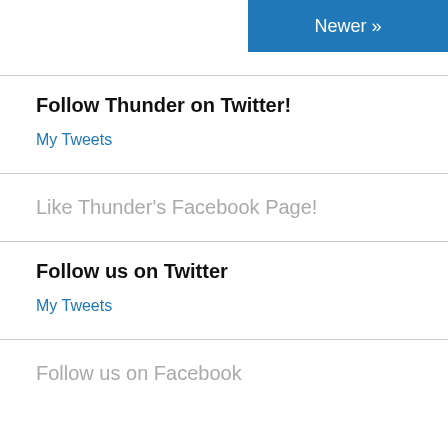Newer »
Follow Thunder on Twitter!
My Tweets
Like Thunder's Facebook Page!
Follow us on Twitter
My Tweets
Follow us on Facebook